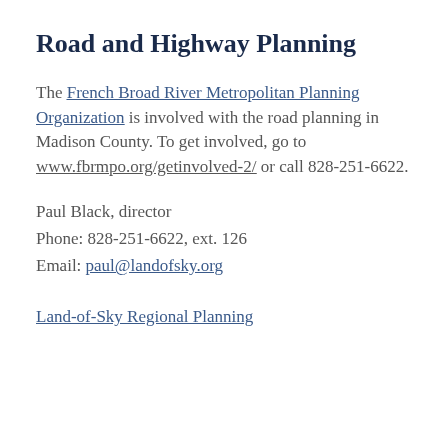Road and Highway Planning
The French Broad River Metropolitan Planning Organization is involved with the road planning in Madison County. To get involved, go to www.fbrmpo.org/getinvolved-2/ or call 828-251-6622.
Paul Black, director
Phone: 828-251-6622, ext. 126
Email: paul@landofsky.org
Land-of-Sky Regional Planning